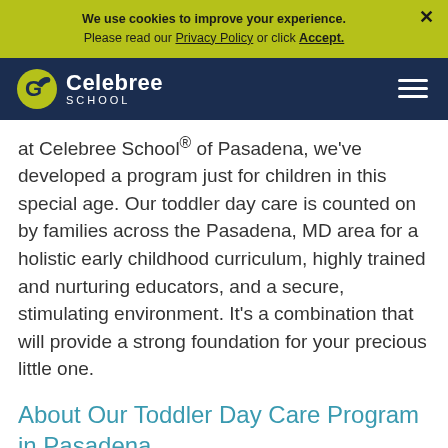We use cookies to improve your experience. Please read our Privacy Policy or click Accept.
[Figure (logo): Celebree School logo with icon on dark navy navigation bar]
at Celebree School® of Pasadena, we've developed a program just for children in this special age. Our toddler day care is counted on by families across the Pasadena, MD area for a holistic early childhood curriculum, highly trained and nurturing educators, and a secure, stimulating environment. It's a combination that will provide a strong foundation for your precious little one.
About Our Toddler Day Care Program in Pasadena